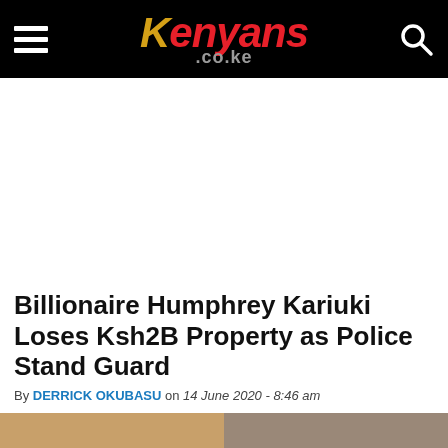Kenyans.co.ke
Billionaire Humphrey Kariuki Loses Ksh2B Property as Police Stand Guard
By DERRICK OKUBASU on 14 June 2020 - 8:46 am
[Figure (photo): Partial image strip visible at bottom of page]